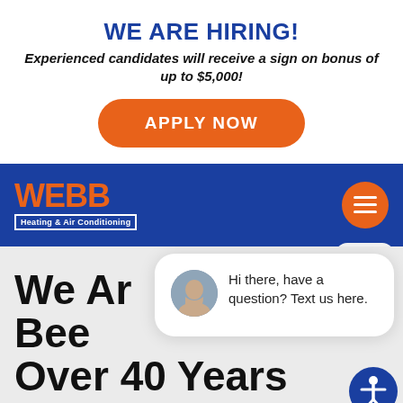WE ARE HIRING!
Experienced candidates will receive a sign on bonus of up to $5,000!
APPLY NOW
[Figure (logo): WEBB Heating & Air Conditioning logo in orange on blue background]
[Figure (screenshot): Hamburger menu button (orange circle with three white lines)]
close
We Are Been Over 40 Years
[Figure (photo): Chat bubble popup with woman avatar and text: Hi there, have a question? Text us here.]
Offering complete residential and commercial HVAC services for our